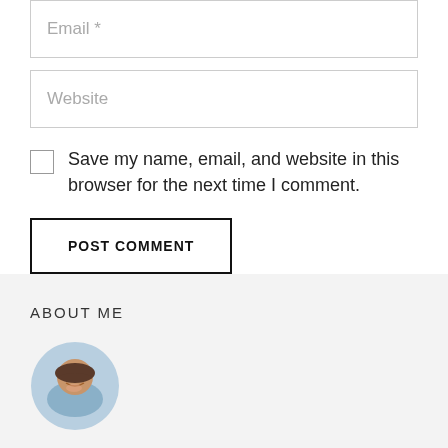Email *
Website
Save my name, email, and website in this browser for the next time I comment.
POST COMMENT
ABOUT ME
[Figure (photo): Circular avatar photo of a smiling woman]